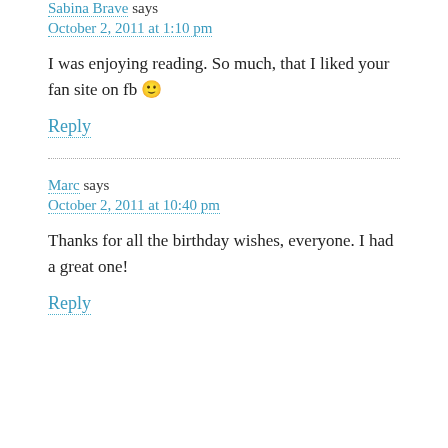Sabina Brave says
October 2, 2011 at 1:10 pm
I was enjoying reading. So much, that I liked your fan site on fb 🙂
Reply
Marc says
October 2, 2011 at 10:40 pm
Thanks for all the birthday wishes, everyone. I had a great one!
Reply